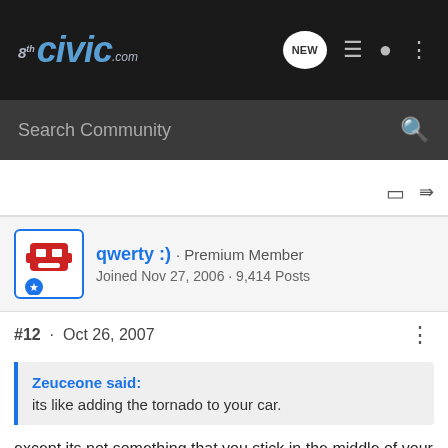8thCivic.com — Search Community — NEW
qwerty :) · Premium Member
Joined Nov 27, 2006 · 9,414 Posts
#12 · Oct 26, 2007
Zeuceone said:
its like adding the tornado to your car.
except its not something that you stick in the middle of your intake tubing.. it just has like ripples that supposidly make the